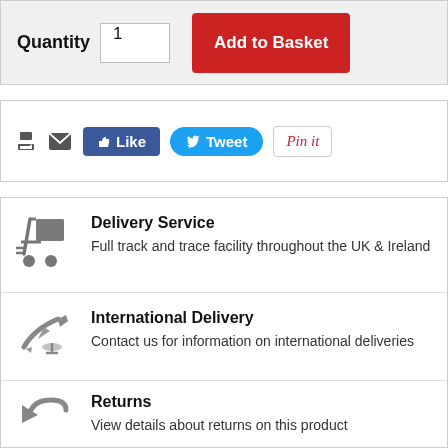Quantity   1   Add to Basket
[Figure (screenshot): Social sharing buttons: print icon, email icon, Facebook Like button, Twitter Tweet button, Pinterest Pin it button]
Delivery Service
Full track and trace facility throughout the UK & Ireland
International Delivery
Contact us for information on international deliveries
Returns
View details about returns on this product